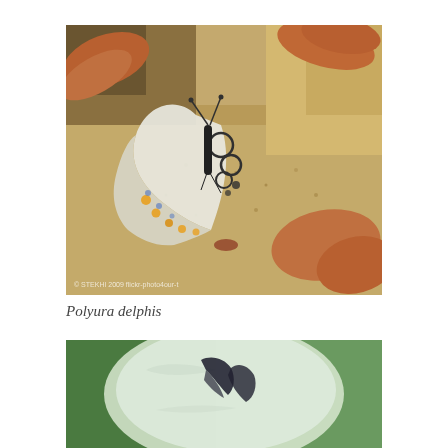[Figure (photo): A butterfly (Polyura delphis) resting on sandy ground with dry brown leaves in the background. The butterfly's wings are folded showing the underside, which is white/pale with black circular markings and yellow-orange spots along the wing edges.]
Polyura delphis
[Figure (photo): Close-up view of what appears to be a butterfly (possibly Polyura species) perched on a pale/white surface, showing dark wing markings against a green blurred background.]